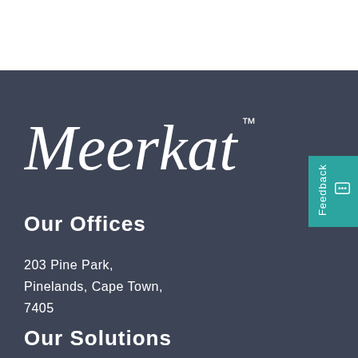[Figure (logo): Meerkat brand logo in cursive/script white text with TM superscript, on dark slate background]
Our Offices
203 Pine Park,
Pinelands, Cape Town,
7405
Our Solutions